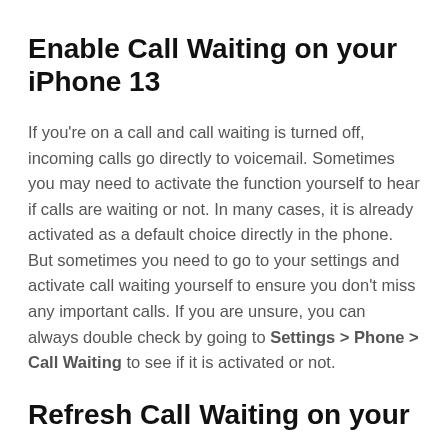Enable Call Waiting on your iPhone 13
If you're on a call and call waiting is turned off, incoming calls go directly to voicemail. Sometimes you may need to activate the function yourself to hear if calls are waiting or not. In many cases, it is already activated as a default choice directly in the phone. But sometimes you need to go to your settings and activate call waiting yourself to ensure you don't miss any important calls. If you are unsure, you can always double check by going to Settings > Phone > Call Waiting to see if it is activated or not.
Refresh Call Waiting on your